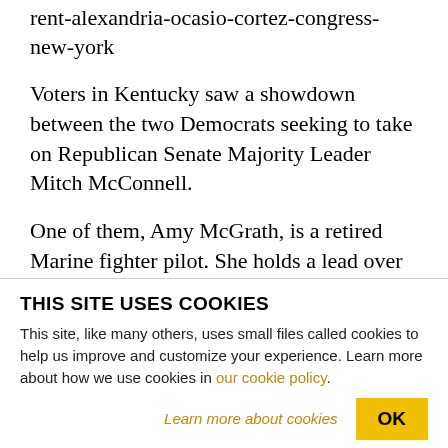rent-alexandria-ocasio-cortez-congress-new-york
Voters in Kentucky saw a showdown between the two Democrats seeking to take on Republican Senate Majority Leader Mitch McConnell.
One of them, Amy McGrath, is a retired Marine fighter pilot. She holds a lead over Charles Booker, a Kentucky state legislator, who surged in polls in recent weeks of protests after the killing of George
THIS SITE USES COOKIES
This site, like many others, uses small files called cookies to help us improve and customize your experience. Learn more about how we use cookies in our cookie policy.
Learn more about cookies
OK